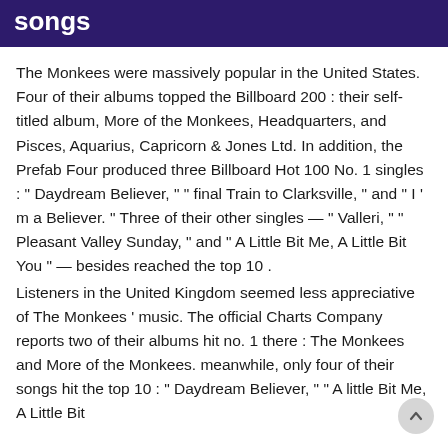songs
The Monkees were massively popular in the United States. Four of their albums topped the Billboard 200 : their self-titled album, More of the Monkees, Headquarters, and Pisces, Aquarius, Capricorn & Jones Ltd. In addition, the Prefab Four produced three Billboard Hot 100 No. 1 singles : " Daydream Believer, " " final Train to Clarksville, " and " I ' m a Believer. " Three of their other singles — " Valleri, " " Pleasant Valley Sunday, " and " A Little Bit Me, A Little Bit You " — besides reached the top 10 .
Listeners in the United Kingdom seemed less appreciative of The Monkees ' music. The official Charts Company reports two of their albums hit no. 1 there : The Monkees and More of the Monkees. meanwhile, only four of their songs hit the top 10 : " Daydream Believer, " " A little Bit Me, A Little Bit You, " " Alternate Title " (in the chorus appears " Randolph…